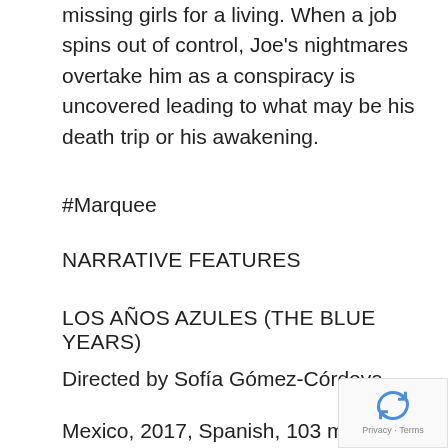missing girls for a living. When a job spins out of control, Joe's nightmares overtake him as a conspiracy is uncovered leading to what may be his death trip or his awakening.
#Marquee
NARRATIVE FEATURES
LOS AÑOS AZULES (THE BLUE YEARS)
Directed by Sofía Gómez-Córdova
Mexico, 2017, Spanish, 103 minutes